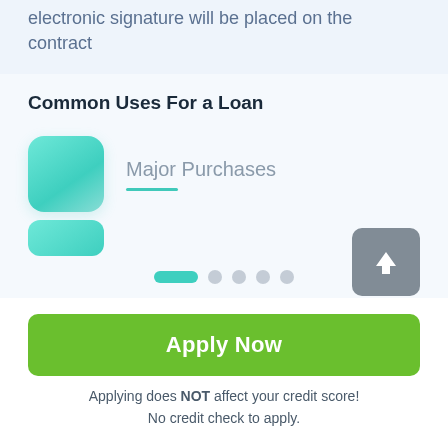electronic signature will be placed on the contract
Common Uses For a Loan
[Figure (illustration): Teal gradient rounded square icon representing Major Purchases category]
Major Purchases
[Figure (illustration): Carousel navigation dots: one active teal pill and four inactive grey circles. Upload arrow button on the right.]
Apply Now
Applying does NOT affect your credit score! No credit check to apply.